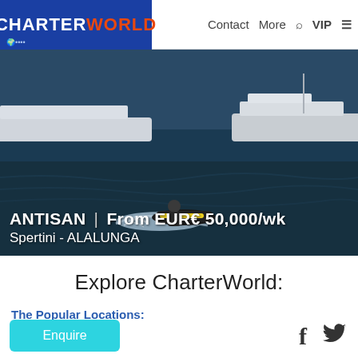CHARTERWORLD | Contact | More | VIP
[Figure (photo): Person riding a jet ski on the ocean near a large yacht, water spray visible, taken from elevated angle.]
ANTISAN | From EUR€ 50,000/wk
Spertini - ALALUNGA
Explore CharterWorld:
The Popular Locations:
Mediterranean
France
Italy
Croatia